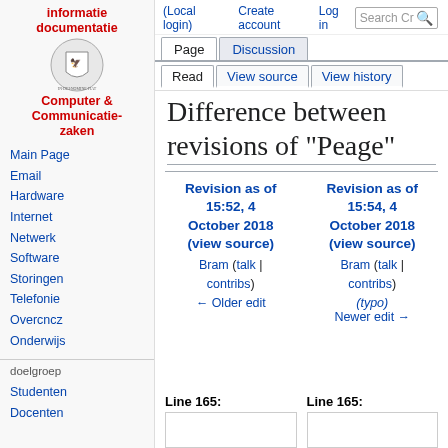(Local login)  Create account  Log in
[Figure (logo): Informatie documentatie Computer & Communicatiezaken wiki logo with coat of arms emblem]
Main Page
Email
Hardware
Internet
Netwerk
Software
Storingen
Telefonie
Overcncz
Onderwijs
doelgroep
Studenten
Docenten
Difference between revisions of "Peage"
| Revision as of 15:52, 4 October 2018 (view source) | Revision as of 15:54, 4 October 2018 (view source) |
| --- | --- |
| Bram (talk | contribs) | Bram (talk | contribs) |
| ← Older edit | (typo)
Newer edit → |
Line 165:   Line 165: